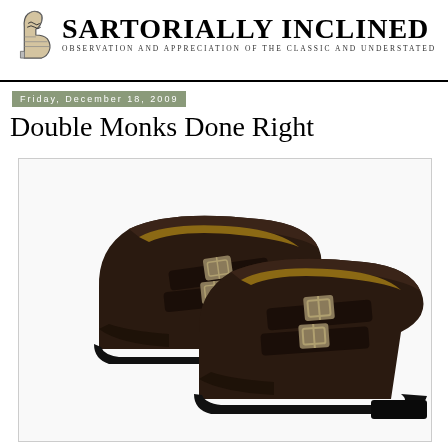SARTORIALLY INCLINED — OBSERVATION AND APPRECIATION OF THE CLASSIC AND UNDERSTATED
Friday, December 18, 2009
Double Monks Done Right
[Figure (photo): A pair of dark brown double monk strap dress shoes with two buckle straps each, displayed overlapping on a white background. The shoes feature a cap toe and dark rubber soles.]